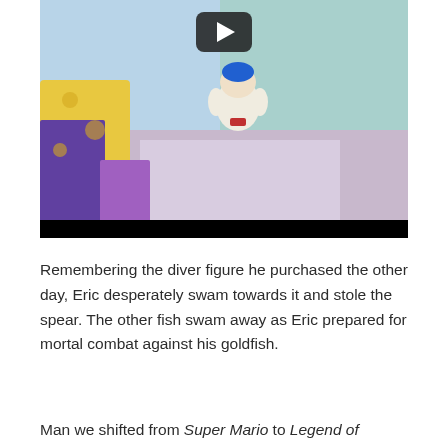[Figure (screenshot): A video thumbnail showing a 3D animated game character (appears to be from a Mario-style game) holding a blue object, with a YouTube-style play button overlay. The scene is in a light blue/purple environment. A black bar runs along the bottom of the video frame.]
Remembering the diver figure he purchased the other day, Eric desperately swam towards it and stole the spear. The other fish swam away as Eric prepared for mortal combat against his goldfish.
Man we shifted from Super Mario to Legend of